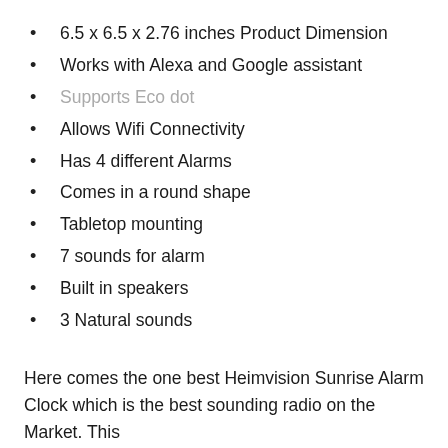6.5 x 6.5 x 2.76 inches Product Dimension
Works with Alexa and Google assistant
Supports Eco dot
Allows Wifi Connectivity
Has 4 different Alarms
Comes in a round shape
Tabletop mounting
7 sounds for alarm
Built in speakers
3 Natural sounds
Here comes the one best Heimvision Sunrise Alarm Clock which is the best sounding radio on the Market. This